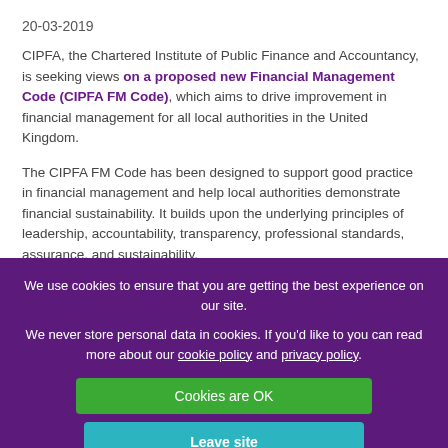20-03-2019
CIPFA, the Chartered Institute of Public Finance and Accountancy, is seeking views on a proposed new Financial Management Code (CIPFA FM Code), which aims to drive improvement in financial management for all local authorities in the United Kingdom.
The CIPFA FM Code has been designed to support good practice in financial management and help local authorities demonstrate financial sustainability. It builds upon the underlying principles of leadership, accountability, transparency, professional standards, assurance, and sustainability.
This is the first time many areas of local government financial management have been codified, with CIPFA creating the FM Code following extensive engagement with senior leaders in public finance from across the United Kingdom over the last nine months.
We use cookies to ensure that you are getting the best experience on our site.
We never store personal data in cookies. If you'd like to you can read more about our cookie policy and privacy policy.
Cookies are OK
Leave site